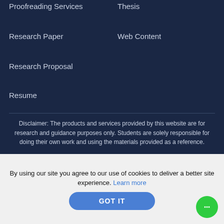Proofreading Services
Thesis
Research Paper
Web Content
Research Proposal
Resume
Disclaimer: The products and services provided by this website are for research and guidance purposes only. Students are solely responsible for doing their own work and using the materials provided as a reference.
[Figure (logo): McAfee SECURE badge and DMCA PROTECTED badge]
By using our site you agree to our use of cookies to deliver a better site experience. Learn more
GOT IT